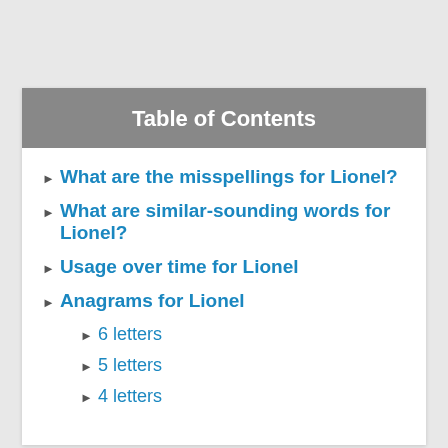Table of Contents
What are the misspellings for Lionel?
What are similar-sounding words for Lionel?
Usage over time for Lionel
Anagrams for Lionel
6 letters
5 letters
4 letters